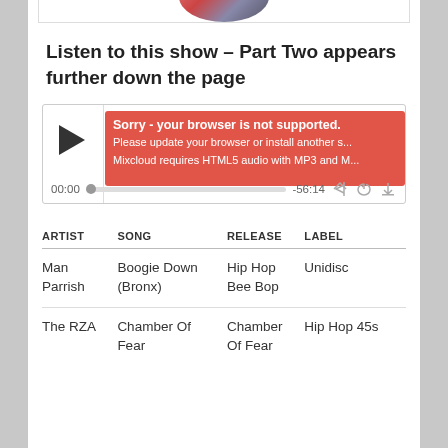[Figure (other): Partial album art circle at top of page, cut off at top]
Listen to this show – Part Two appears further down the page
[Figure (screenshot): Mixcloud audio player widget showing play button, error banner reading 'Sorry - your browser is not supported. Please update your browser or install another s... Mixcloud requires HTML5 audio with MP3 and M...', time display 00:00, progress bar, -56:14, and control icons]
| ARTIST | SONG | RELEASE | LABEL |
| --- | --- | --- | --- |
| Man Parrish | Boogie Down (Bronx) | Hip Hop Bee Bop | Unidisc |
| The RZA | Chamber Of Fear | Chamber Of Fear | Hip Hop 45s |